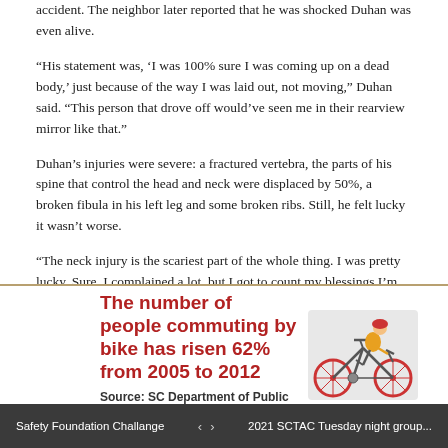accident. The neighbor later reported that he was shocked Duhan was even alive.
“His statement was, ‘I was 100% sure I was coming up on a dead body,’ just because of the way I was laid out, not moving,” Duhan said. “This person that drove off would’ve seen me in their rearview mirror like that.”
Duhan’s injuries were severe: a fractured vertebra, the parts of his spine that control the head and neck were displaced by 50%, a broken fibula in his left leg and some broken ribs. Still, he felt lucky it wasn’t worse.
“The neck injury is the scariest part of the whole thing. I was pretty lucky. Sure, I complained a lot, but I got to count my blessings I’m still able to walk and talk,” he said.
[Figure (infographic): Infographic with cyclist illustration and text: The number of people commuting by bike has risen 62% from 2005 to 2012. Source: SC Department of Public Safety]
Safety Foundation Challange  ‹  ›  2021 SCTAC Tuesday night group...